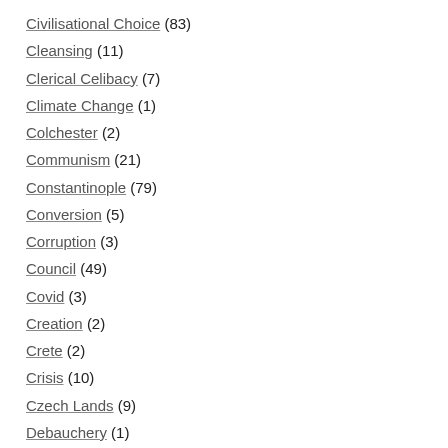Civilisational Choice (83)
Cleansing (11)
Clerical Celibacy (7)
Climate Change (1)
Colchester (2)
Communism (21)
Constantinople (79)
Conversion (5)
Corruption (3)
Council (49)
Covid (3)
Creation (2)
Crete (2)
Crisis (10)
Czech Lands (9)
Debauchery (1)
Debolshevisation (9)
DeChristianisation (47)
Decivilisation (59)